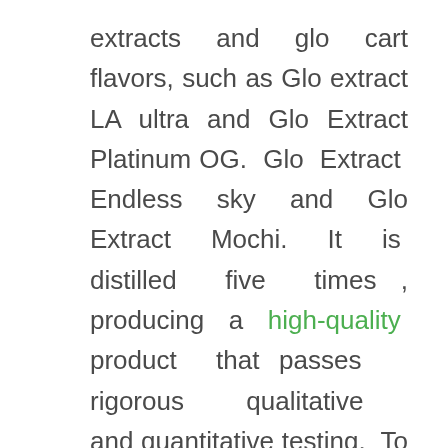extracts and glo cart flavors, such as Glo extract LA ultra and Glo Extract Platinum OG. Glo Extract Endless sky and Glo Extract Mochi. It is distilled five times , producing a high-quality product that passes rigorous qualitative and quantitative testing. To achieve the best glo carts flavor, proprietary blends of Terpenes will be added.
There are many premium strains of cannabis that we offer a variety of glo